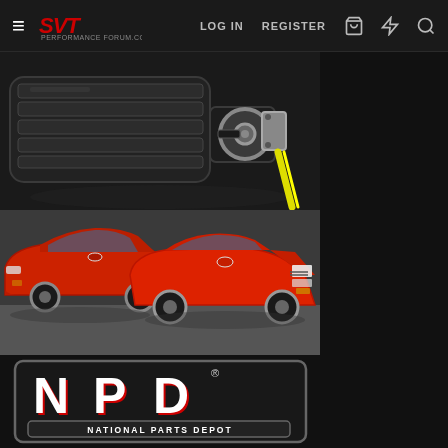SVT Performance Forum — LOG IN  REGISTER
[Figure (photo): Close-up photo of a supercharger with silver bracket and yellow wire/cable on dark background]
[Figure (photo): Two red Ford Mustangs (one SN95 generation, one Fox body generation) parked in a garage or studio]
[Figure (logo): NPD National Parts Depot logo — large red and white NPD letters with 'NATIONAL PARTS DEPOT' subtitle on dark background with border]